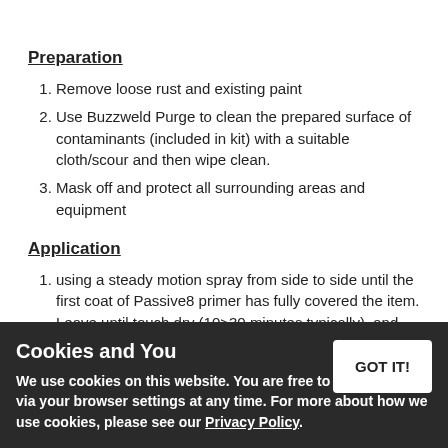Preparation
Remove loose rust and existing paint
Use Buzzweld Purge to clean the prepared surface of contaminants (included in kit) with a suitable cloth/scour and then wipe clean.
Mask off and protect all surrounding areas and equipment
Application
using a steady motion spray from side to side until the first coat of Passive8 primer has fully covered the item. Leave until touch dry (10>30 minutes typically), and apply
Leave item to cure for 1>2 hours until product has hardened in low temperatures. Or door ventilation this the base coat as described above.
As done with the primer, use the top coat finishing as coat of your first coat. Allow to touch dry for 5>20 minutes depending on conditions before applying
Cookies and You
We use cookies on this website. You are free to manage these via your browser settings at any time. For more about how we use cookies, please see our Privacy Policy.